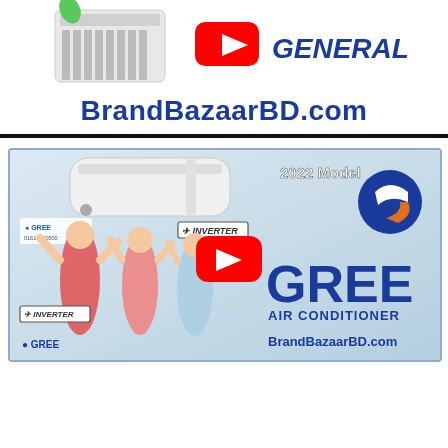[Figure (illustration): Top banner with an air conditioner unit image, YouTube play button icon, and GENERAL brand logo in blue italic text]
BrandBazaarBD.com
[Figure (illustration): Video thumbnail for Gree Air Conditioner 2022 Model Inverter. Shows dancing girls, Gree logo, INVERTER badge, YouTube play button, and BrandBazaarBD.com branding]